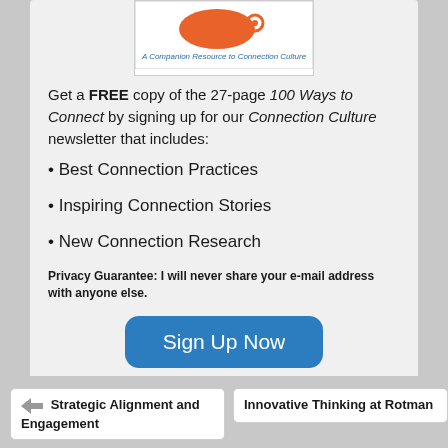[Figure (illustration): Book cover image for '100 Ways to Connect', described as 'A Companion Resource to Connection Culture', with an orange graphic element]
Get a FREE copy of the 27-page 100 Ways to Connect by signing up for our Connection Culture newsletter that includes:
• Best Connection Practices
• Inspiring Connection Stories
• New Connection Research
Privacy Guarantee: I will never share your e-mail address with anyone else.
[Figure (other): Sign Up Now button — blue rounded rectangle with white text]
For Email Newsletters you can trust.
Strategic Alignment and Engagement
Innovative Thinking at Rotman